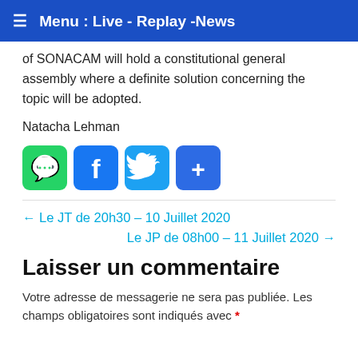≡ Menu : Live - Replay -News
of SONACAM will hold a constitutional general assembly where a definite solution concerning the topic will be adopted.
Natacha Lehman
[Figure (infographic): Social share icons: WhatsApp (green), Facebook (blue), Twitter (light blue), Share/Add (blue)]
← Le JT de 20h30 – 10 Juillet 2020
Le JP de 08h00 – 11 Juillet 2020 →
Laisser un commentaire
Votre adresse de messagerie ne sera pas publiée. Les champs obligatoires sont indiqués avec *